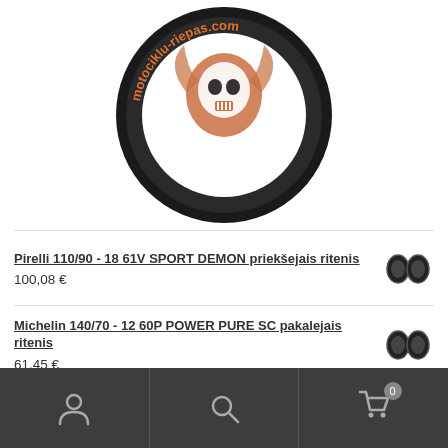[Figure (logo): Motorcycle tire logo with 'motociklu-riepas.com' text on a black tire, with decorative skull/engine graphic in orange and white]
Pirelli 110/90 - 18 61V SPORT DEMON priekšejais ritenis
100,08 €
Michelin 140/70 - 12 60P POWER PURE SC pakalejais ritenis
61,45 €
Mitas 120/90 - 17 64T E-08 M+S pakalejais ritenis
89,34 €
User | Search | Cart (0)